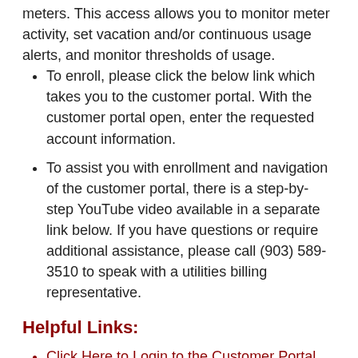meters. This access allows you to monitor meter activity, set vacation and/or continuous usage alerts, and monitor thresholds of usage.
To enroll, please click the below link which takes you to the customer portal. With the customer portal open, enter the requested account information.
To assist you with enrollment and navigation of the customer portal, there is a step-by-step YouTube video available in a separate link below. If you have questions or require additional assistance, please call (903) 589-3510 to speak with a utilities billing representative.
Helpful Links:
Click Here to Login to the Customer Portal
Click Here to Watch a Step-by-Step Video on Navigating the Customer Portal
Questions and Answers:
What are the capabilities of the customer...